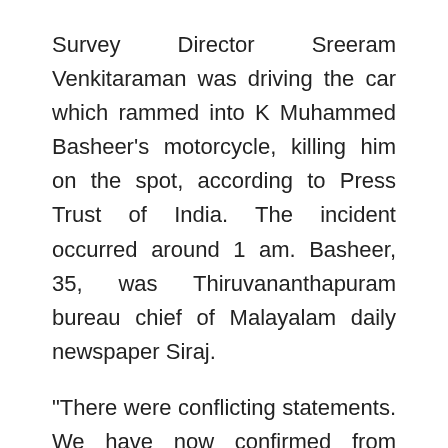Survey Director Sreeram Venkitaraman was driving the car which rammed into K Muhammed Basheer's motorcycle, killing him on the spot, according to Press Trust of India. The incident occurred around 1 am. Basheer, 35, was Thiruvananthapuram bureau chief of Malayalam daily newspaper Siraj.
"There were conflicting statements. We have now confirmed from independent witnesses that Sreeram Venkitaraman was driving the vehicle,"